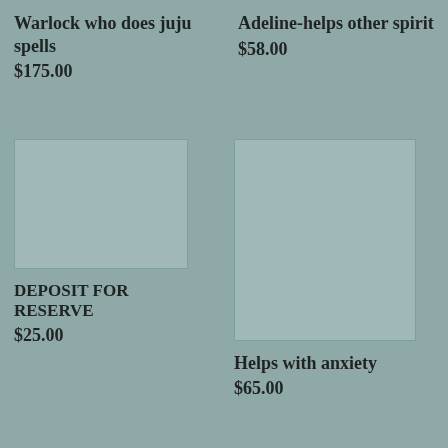Warlock who does juju spells
$175.00
Adeline-helps other spirit
$58.00
[Figure (photo): Product image placeholder for DEPOSIT FOR RESERVE]
DEPOSIT FOR RESERVE
$25.00
[Figure (photo): Product image placeholder for Helps with anxiety]
Helps with anxiety
$65.00